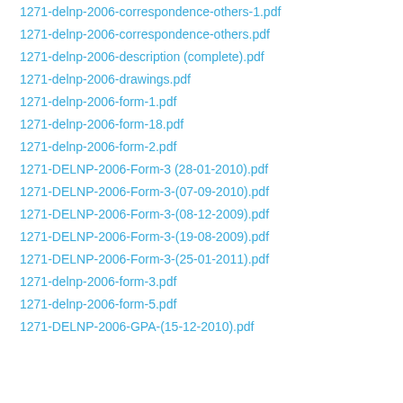1271-delnp-2006-correspondence-others-1.pdf
1271-delnp-2006-correspondence-others.pdf
1271-delnp-2006-description (complete).pdf
1271-delnp-2006-drawings.pdf
1271-delnp-2006-form-1.pdf
1271-delnp-2006-form-18.pdf
1271-delnp-2006-form-2.pdf
1271-DELNP-2006-Form-3 (28-01-2010).pdf
1271-DELNP-2006-Form-3-(07-09-2010).pdf
1271-DELNP-2006-Form-3-(08-12-2009).pdf
1271-DELNP-2006-Form-3-(19-08-2009).pdf
1271-DELNP-2006-Form-3-(25-01-2011).pdf
1271-delnp-2006-form-3.pdf
1271-delnp-2006-form-5.pdf
1271-DELNP-2006-GPA-(15-12-2010).pdf